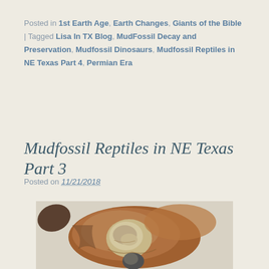Posted in 1st Earth Age, Earth Changes, Giants of the Bible | Tagged Lisa In TX Blog, MudFossil Decay and Preservation, Mudfossil Dinosaurs, Mudfossil Reptiles in NE Texas Part 4, Permian Era
Mudfossil Reptiles in NE Texas Part 3
Posted on 11/21/2018
[Figure (photo): Close-up photograph of a mudfossil specimen — a brown earthy rock with a rounded pale tan/cream fossil form embedded in it, against a light background.]